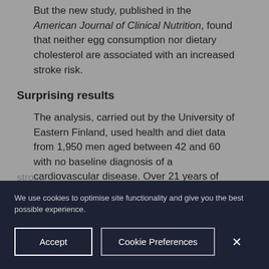But the new study, published in the American Journal of Clinical Nutrition, found that neither egg consumption nor dietary cholesterol are associated with an increased stroke risk.
Surprising results
The analysis, carried out by the University of Eastern Finland, used health and diet data from 1,950 men aged between 42 and 60 with no baseline diagnosis of a cardiovascular disease. Over 21 years of follow-up, there were 217 stro...
We use cookies to optimise site functionality and give you the best possible experience.